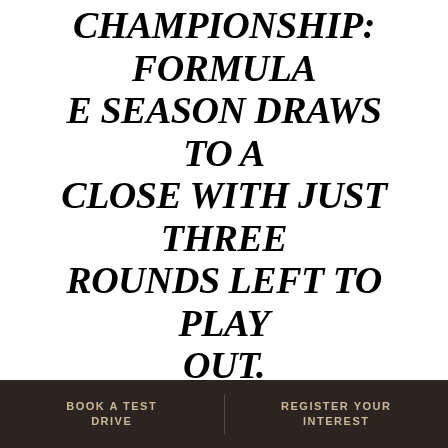CHAMPIONSHIP: FORMULA E SEASON DRAWS TO A CLOSE WITH JUST THREE ROUNDS LEFT TO PLAY OUT.
British racer Sam Bird secured a points finish during today's Formula E Berlin E-Prix to keep up his title challenge and remain second in the drivers' standings with just three rounds left to play out.
The DS Virgin Racing driver gained three places from his P10 grid slot to finish seventh, with team-mate and fellow countryman Alex Lynn finishing a frustrating P16.
BOOK A TEST DRIVE   REGISTER YOUR INTEREST